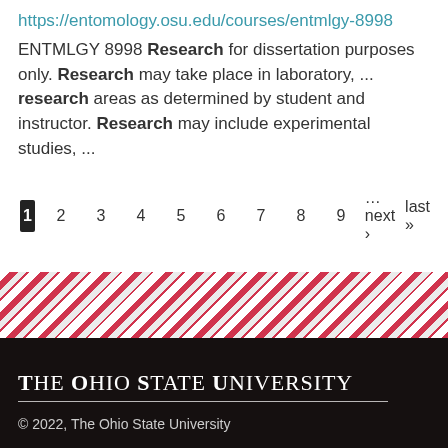https://entomology.osu.edu/courses/entmlgy-8998
ENTMLGY 8998 Research for dissertation purposes only. Research may take place in laboratory, ... research areas as determined by student and instructor. Research may include experimental studies, ...
1 2 3 4 5 6 7 8 9 …next › last »
[Figure (other): Diagonal red and white stripe decorative band, OSU branding element]
The Ohio State University
© 2022, The Ohio State University